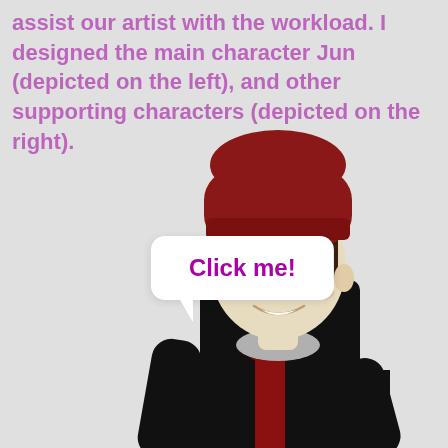assist our artist with the workload. I designed the main character Jun (depicted on the left), and other supporting characters (depicted on the right).
[Figure (illustration): Anime-style illustration of two characters: a taller character in the foreground wearing a large red beanie hat, dark brown hair, pale skin, amber eyes, black jacket with red scarf, smiling; and a shorter character in the background with dark hair and a gray outfit. The background is light gray.]
Click me!